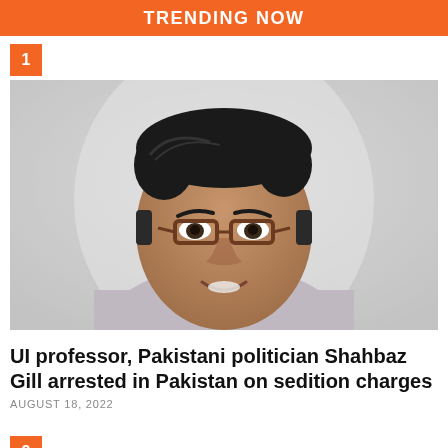TRENDING NOW
1
[Figure (photo): Headshot of a smiling South Asian man with dark hair and brown rectangular-framed glasses, wearing a light-colored dress shirt, against a blurred light background.]
UI professor, Pakistani politician Shahbaz Gill arrested in Pakistan on sedition charges
AUGUST 18, 2022
2